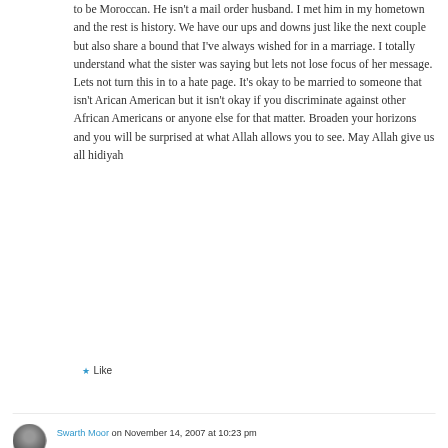to be Moroccan. He isn't a mail order husband. I met him in my hometown and the rest is history. We have our ups and downs just like the next couple but also share a bound that I've always wished for in a marriage. I totally understand what the sister was saying but lets not lose focus of her message. Lets not turn this in to a hate page. It's okay to be married to someone that isn't Arican American but it isn't okay if you discriminate against other African Americans or anyone else for that matter. Broaden your horizons and you will be surprised at what Allah allows you to see. May Allah give us all hidiyah
★ Like
Swarth Moor on November 14, 2007 at 10:23 pm